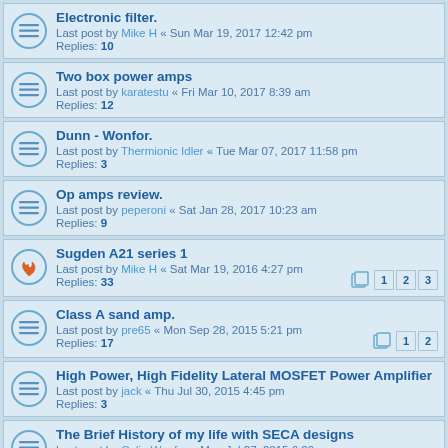Electronic filter.
Last post by Mike H « Sun Mar 19, 2017 12:42 pm
Replies: 10
Two box power amps
Last post by karatestu « Fri Mar 10, 2017 8:39 am
Replies: 12
Dunn - Wonfor.
Last post by Thermionic Idler « Tue Mar 07, 2017 11:58 pm
Replies: 3
Op amps review.
Last post by peperoni « Sat Jan 28, 2017 10:23 am
Replies: 9
Sugden A21 series 1
Last post by Mike H « Sat Mar 19, 2016 4:27 pm
Replies: 33
Class A sand amp.
Last post by pre65 « Mon Sep 28, 2015 5:21 pm
Replies: 17
High Power, High Fidelity Lateral MOSFET Power Amplifier
Last post by jack « Thu Jul 30, 2015 4:45 pm
Replies: 3
The Brief History of my life with SECA designs
Last post by Colin Wonfor « Mon Jul 27, 2015 6:29 pm
Replies: 2
JLH Class A
Last post by pre65 « Sun May 03, 2015 1:19 pm